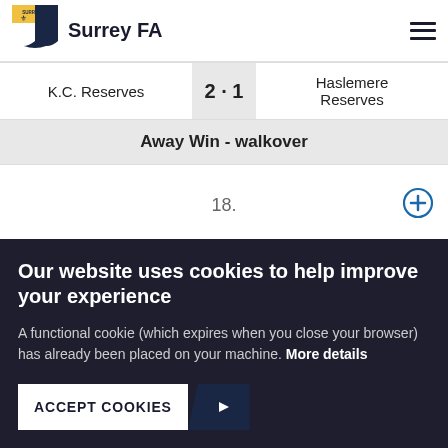Surrey FA
| Home | Score | Away |
| --- | --- | --- |
| K.C. Reserves | 2 - 1 | Haslemere Reserves |
| Away Win - walkover |  |  |
| 18. |  |  |
| 20/10/18  13:30 |  |  |
| Ashford Villa |  | Westcott (1885) |
Our website uses cookies to help improve your experience

A functional cookie (which expires when you close your browser) has already been placed on your machine. More details
ACCEPT COOKIES